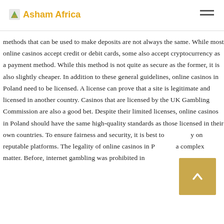Asham Africa
methods that can be used to make deposits are not always the same. While most online casinos accept credit or debit cards, some also accept cryptocurrency as a payment method. While this method is not quite as secure as the former, it is also slightly cheaper. In addition to these general guidelines, online casinos in Poland need to be licensed. A license can prove that a site is legitimate and licensed in another country. Casinos that are licensed by the UK Gambling Commission are also a good bet. Despite their limited licenses, online casinos in Poland should have the same high-quality standards as those licensed in their own countries. To ensure fairness and security, it is best to play on reputable platforms. The legality of online casinos in Poland is a complex matter. Before, internet gambling was prohibited in